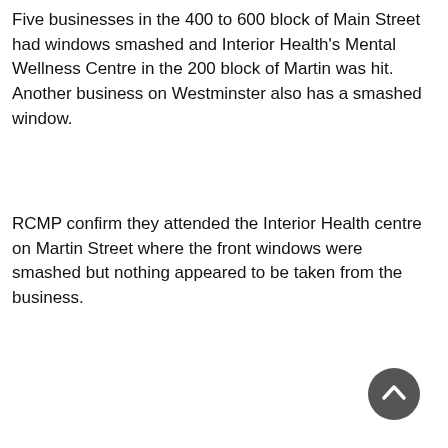Five businesses in the 400 to 600 block of Main Street had windows smashed and Interior Health's Mental Wellness Centre in the 200 block of Martin was hit. Another business on Westminster also has a smashed window.
RCMP confirm they attended the Interior Health centre on Martin Street where the front windows were smashed but nothing appeared to be taken from the business.